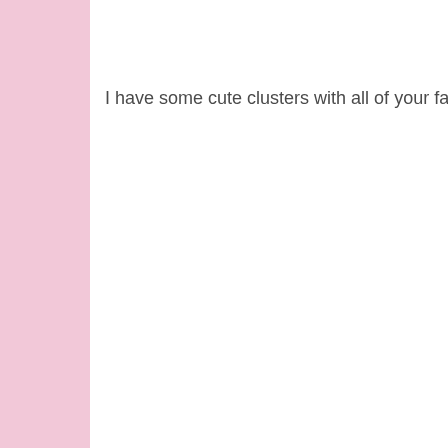I have some cute clusters with all of your favourite characters fr